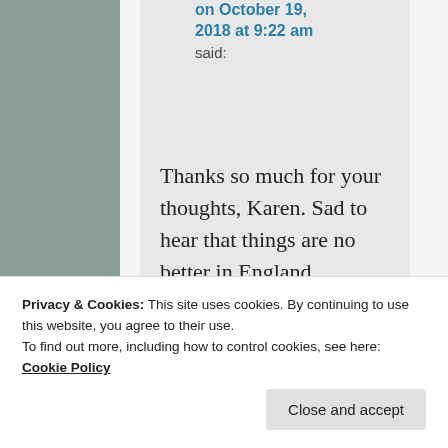on October 19, 2018 at 9:22 am said:
Thanks so much for your thoughts, Karen. Sad to hear that things are no better in England.
Liked by 1 person
Privacy & Cookies: This site uses cookies. By continuing to use this website, you agree to their use.
To find out more, including how to control cookies, see here: Cookie Policy